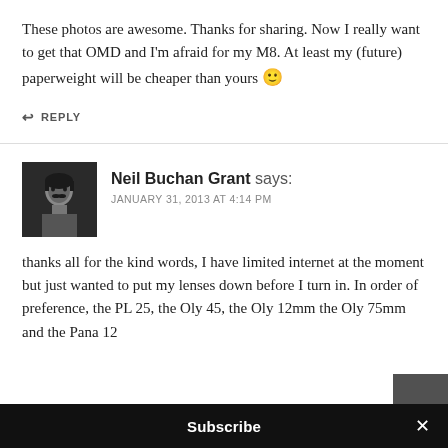These photos are awesome. Thanks for sharing. Now I really want to get that OMD and I'm afraid for my M8. At least my (future) paperweight will be cheaper than yours 🙂
↩ REPLY
Neil Buchan Grant says:
JANUARY 31, 2013 AT 4:14 PM
thanks all for the kind words, I have limited internet at the moment but just wanted to put my lenses down before I turn in. In order of preference, the PL 25, the Oly 45, the Oly 12mm the Oly 75mm and the Pana 12
Subscribe ×